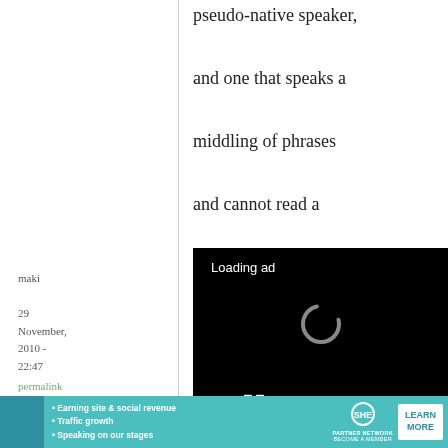pseudo-native speaker, and one that speaks a middling of phrases and cannot read a word of Japanese?
maki
29 November, 2010 - 22:47
permalink
[Figure (screenshot): Video player loading an ad, showing 'Loading ad' text, a spinning loader arc, and video controls (pause, expand, mute) on a black background.]
Raumen
[Figure (infographic): Banner advertisement for SHE Partner Network with teal background, woman photo, bullet points reading: Earning site & social revenue, Traffic growth, Speaking on our stages. SHE logo and LEARN MORE button.]